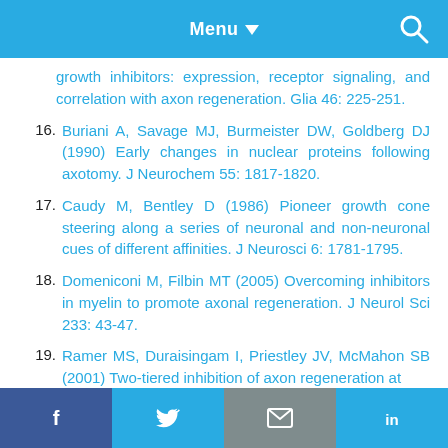Menu
growth inhibitors: expression, receptor signaling, and correlation with axon regeneration. Glia 46: 225-251.
16. Buriani A, Savage MJ, Burmeister DW, Goldberg DJ (1990) Early changes in nuclear proteins following axotomy. J Neurochem 55: 1817-1820.
17. Caudy M, Bentley D (1986) Pioneer growth cone steering along a series of neuronal and non-neuronal cues of different affinities. J Neurosci 6: 1781-1795.
18. Domeniconi M, Filbin MT (2005) Overcoming inhibitors in myelin to promote axonal regeneration. J Neurol Sci 233: 43-47.
19. Ramer MS, Duraisingam I, Priestley JV, McMahon SB (2001) Two-tiered inhibition of axon regeneration at...